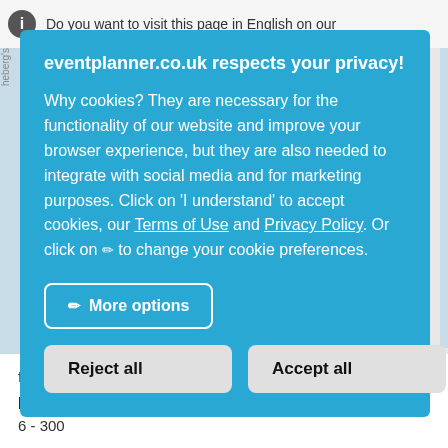Do you want to visit this page in English on our
eventplanner.co.uk respects your privacy! Why cookies? They are necessary for the functionality of our website and improve your browser experience, but they are also needed to integrate with social media and for marketing purposes. Click on 'I understand' to accept cookies, our Terms of Use and Privacy Policy. Or click on ✏ to change your cookie preferences.
More options
Reject all
Accept all
free
Number of persons
6 - 300